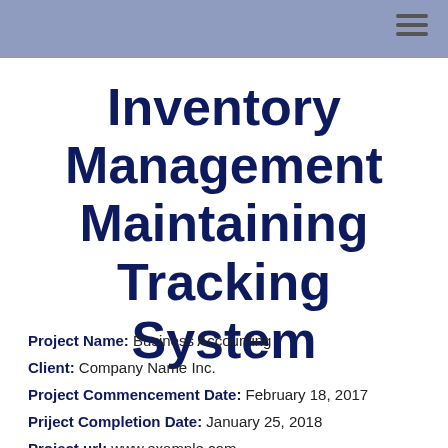Inventory Management Maintaining Tracking System
Project Name: Business Accounting
Client: Company Name Inc.
Project Commencement Date: February 18, 2017
Priject Completion Date: January 25, 2018
Project url: www.example.com